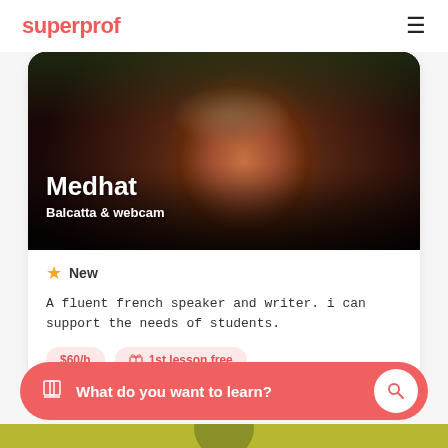superprof
[Figure (photo): Profile photo of tutor Medhat, showing a middle-aged man with mustache in a dark red shirt, with name overlay 'Medhat' and location 'Balcatta & webcam']
New
A fluent french speaker and writer. i can support the needs of students.
$60/h
1st lesson free
What do you want to learn?